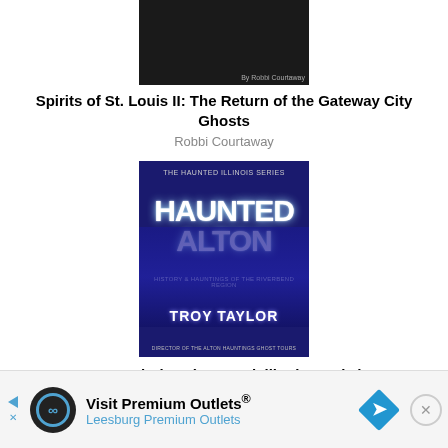[Figure (photo): Book cover for Spirits of St. Louis II: The Return of the Gateway City Ghosts by Robbi Courtaway — dark cover]
Spirits of St. Louis II: The Return of the Gateway City Ghosts
Robbi Courtaway
[Figure (photo): Book cover for Haunted Alton (Haunted Illinois Books) by Troy Taylor — dark blue haunted building cover with large stylized title text]
Haunted Alton (Haunted Illinois Books)
Troy Taylor
[Figure (photo): Book cover partially visible — Even More History, Mystery, and Hauntings of ...]
[Figure (infographic): Advertisement banner: Visit Premium Outlets / Leessburg Premium Outlets with logo, diamond map pin icon, and close button]